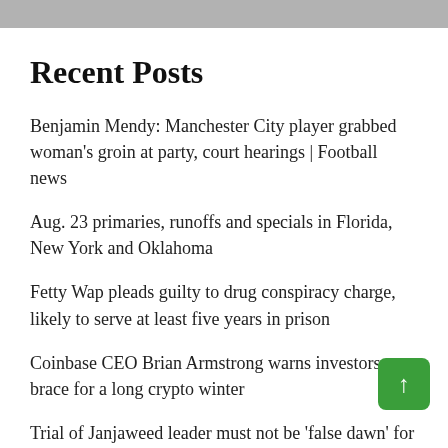Recent Posts
Benjamin Mendy: Manchester City player grabbed woman’s groin at party, court hearings | Football news
Aug. 23 primaries, runoffs and specials in Florida, New York and Oklahoma
Fetty Wap pleads guilty to drug conspiracy charge, likely to serve at least five years in prison
Coinbase CEO Brian Armstrong warns investors to brace for a long crypto winter
Trial of Janjaweed leader must not be ‘false dawn’ for justice, Security Council hears —